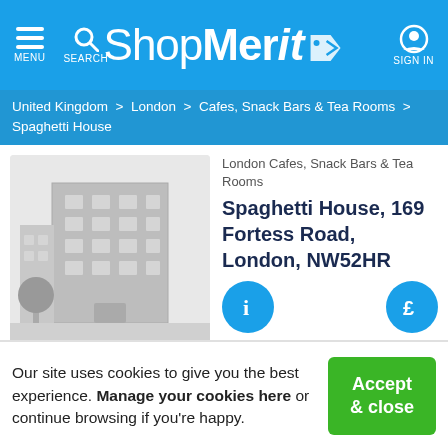ShopMerit — MENU SEARCH SIGN IN
United Kingdom > London > Cafes, Snack Bars & Tea Rooms > Spaghetti House
[Figure (illustration): Placeholder building illustration with grey office block and trees]
London Cafes, Snack Bars & Tea Rooms
Spaghetti House, 169 Fortess Road, London, NW52HR
Restaurant Deals
Our site uses cookies to give you the best experience. Manage your cookies here or continue browsing if you're happy.
Accept & close